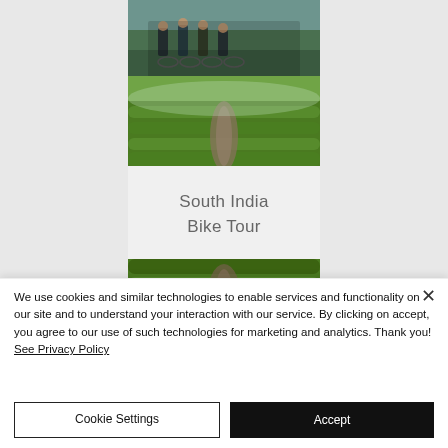[Figure (photo): Website screenshot showing a cycling tour page with two photos: cyclists posing with bikes, and tea plantation landscape. A card shows 'South India Bike Tour' title and a third tea plantation photo below.]
South India Bike Tour
We use cookies and similar technologies to enable services and functionality on our site and to understand your interaction with our service. By clicking on accept, you agree to our use of such technologies for marketing and analytics. Thank you! See Privacy Policy